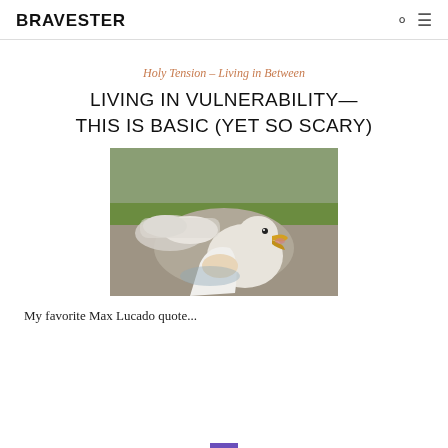BRAVESTER
Holy Tension – Living in Between
LIVING IN VULNERABILITY—THIS IS BASIC (YET SO SCARY)
[Figure (photo): A crowd of white ducks/geese walking along a path, with one duck in the foreground opening its beak toward the camera, held or approached by someone in a white garment.]
My favorite Max Lucado quote...